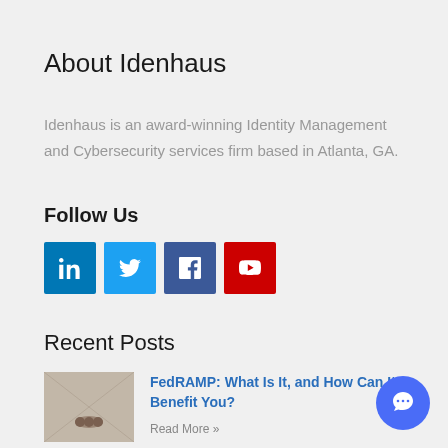About Idenhaus
Idenhaus is an award-winning Identity Management and Cybersecurity services firm based in Atlanta, GA.
Follow Us
[Figure (infographic): Four social media icon buttons: LinkedIn (blue), Twitter (light blue), Facebook (dark blue), YouTube (red)]
Recent Posts
[Figure (photo): Thumbnail image for FedRAMP article, appears to show a blurred document or form]
FedRAMP: What Is It, and How Can It Benefit You?
Read More »